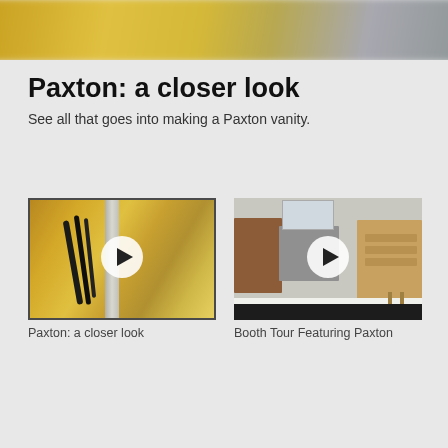[Figure (photo): Blurred gold/metallic background photo at top of page]
Paxton: a closer look
See all that goes into making a Paxton vanity.
[Figure (photo): Video thumbnail showing close-up of metal cables/wires on a gold vanity surface, with a white play button overlay. Caption: Paxton: a closer look]
Paxton: a closer look
[Figure (photo): Video thumbnail showing bathroom vanity display booth with multiple vanity units, with a white play button overlay. Caption: Booth Tour Featuring Paxton]
Booth Tour Featuring Paxton